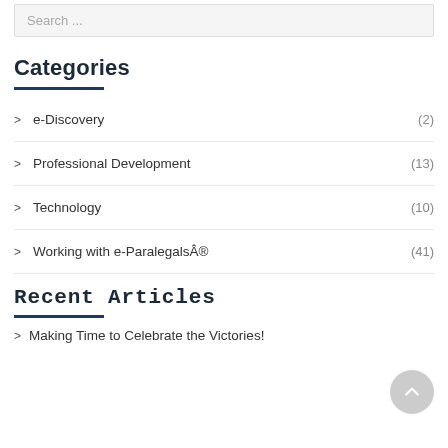Search ...
Categories
e-Discovery (2)
Professional Development (13)
Technology (10)
Working with e-ParalegalsÂ® (41)
Recent Articles
Making Time to Celebrate the Victories!